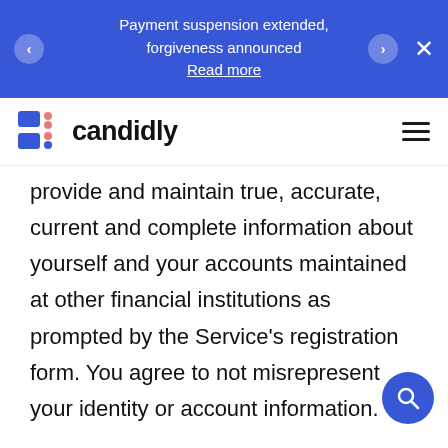Payment suspension extended, forgiveness announced
Read more
[Figure (logo): Candidly logo with stylized C icon made of blue rectangle and pink dots, followed by text 'candidly']
provide and maintain true, accurate, current and complete information about yourself and your accounts maintained at other financial institutions as prompted by the Service's registration form. You agree to not misrepresent your identity or account information. Registration data and certain